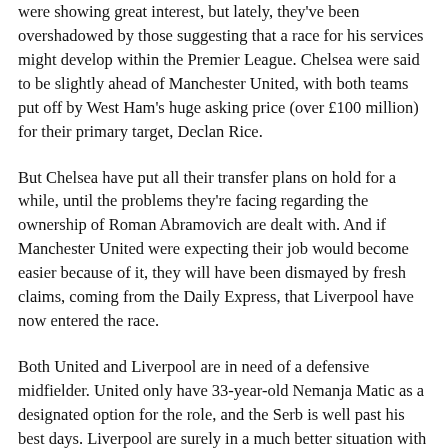were showing great interest, but lately, they've been overshadowed by those suggesting that a race for his services might develop within the Premier League. Chelsea were said to be slightly ahead of Manchester United, with both teams put off by West Ham's huge asking price (over £100 million) for their primary target, Declan Rice.
But Chelsea have put all their transfer plans on hold for a while, until the problems they're facing regarding the ownership of Roman Abramovich are dealt with. And if Manchester United were expecting their job would become easier because of it, they will have been dismayed by fresh claims, coming from the Daily Express, that Liverpool have now entered the race.
Both United and Liverpool are in need of a defensive midfielder. United only have 33-year-old Nemanja Matic as a designated option for the role, and the Serb is well past his best days. Liverpool are surely in a much better situation with Fabinho, 28